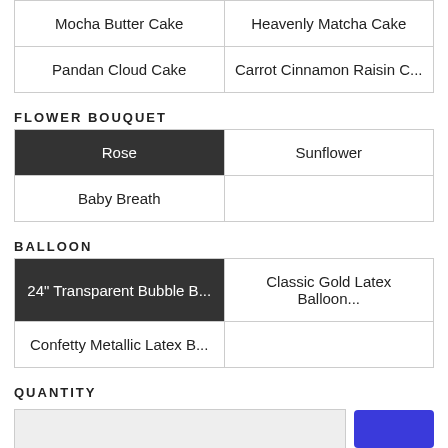| Mocha Butter Cake | Heavenly Matcha Cake |
| Pandan Cloud Cake | Carrot Cinnamon Raisin C... |
FLOWER BOUQUET
| Rose | Sunflower |
| Baby Breath |  |
BALLOON
| 24" Transparent Bubble B... | Classic Gold Latex Balloon... |
| Confetty Metallic Latex B... |  |
QUANTITY
1
Check availability at